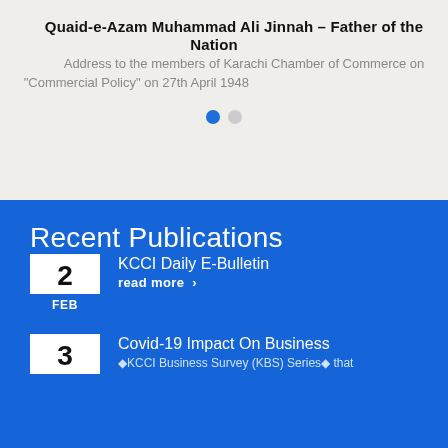Quaid-e-Azam Muhammad Ali Jinnah – Father of the Nation
Address to the members of Karachi Chamber of Commerce on "Commercial Policy" on 27th April 1948
[Figure (other): Carousel pagination dots: one blue (active), one grey (inactive)]
Recent Publications
KCCI Daily E-Bulletin
read more >
Covid-19 Impact On Business
◆KCCI Business Survey (KBS) Series◆ that